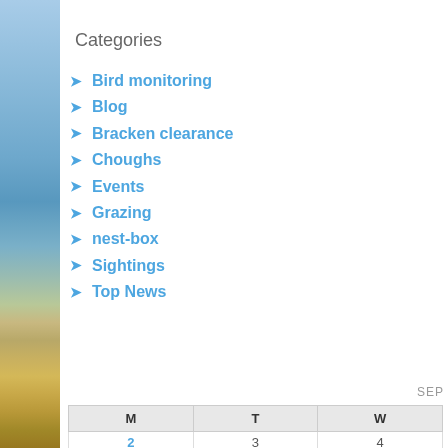[Figure (photo): Coastal landscape photo strip on left side showing sky, sea, and rocky shore with vegetation]
Categories
Bird monitoring
Blog
Bracken clearance
Choughs
Events
Grazing
nest-box
Sightings
Top News
SEP
| M | T | W |
| --- | --- | --- |
| 2 | 3 | 4 |
| 9 | 10 | 11 |
| 16 | 17 | 18 |
| 23 | 24 | 25 |
| 30 |  |  |